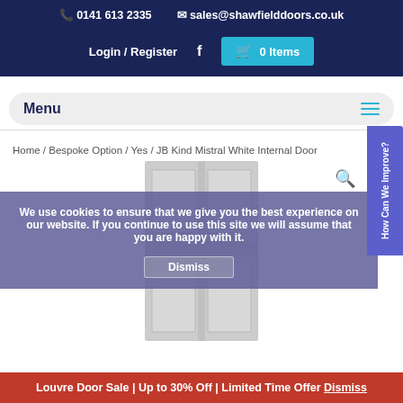0141 613 2335  sales@shawfielddoors.co.uk
Login / Register  f  0 Items
Menu
Home / Bespoke Option / Yes / JB Kind Mistral White Internal Door
[Figure (photo): JB Kind Mistral White Internal Door product image showing a white panelled door]
We use cookies to ensure that we give you the best experience on our website. If you continue to use this site we will assume that you are happy with it.
Dismiss
Louvre Door Sale | Up to 30% Off | Limited Time Offer Dismiss